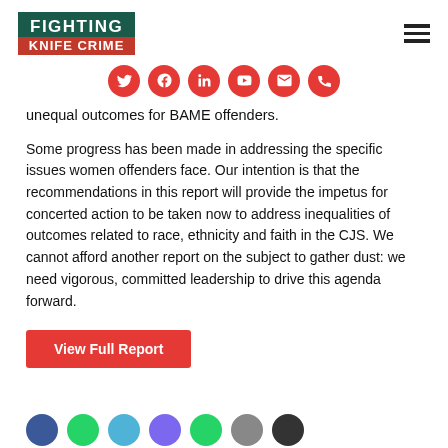FIGHTING KNIFE CRIME
[Figure (infographic): Row of six red circular social media icons: Twitter, Facebook, LinkedIn, YouTube, Email, Phone]
unequal outcomes for BAME offenders.
Some progress has been made in addressing the specific issues women offenders face. Our intention is that the recommendations in this report will provide the impetus for concerted action to be taken now to address inequalities of outcomes related to race, ethnicity and faith in the CJS. We cannot afford another report on the subject to gather dust: we need vigorous, committed leadership to drive this agenda forward.
View Full Report
[Figure (infographic): Partial row of social sharing icons at the bottom of the page]